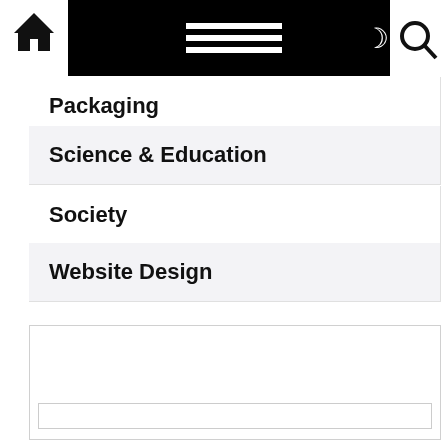[Figure (screenshot): Navigation bar with home icon, hamburger menu, moon icon, red lightning bolt icon, and search icon]
Packaging
Science & Education
Society
Website Design
[Figure (screenshot): Empty widget box with input field at bottom]
[Figure (screenshot): Widget box containing red link text 'bayar.ooo']